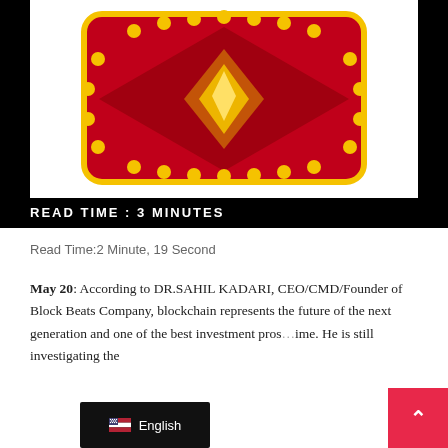[Figure (logo): Block Beats Company logo: red and gold emblem with star/diamond shape and decorative gold dots border on dark red background]
READ TIME : 3 MINUTES
Read Time:2 Minute, 19 Second
May 20: According to DR.SAHIL KADARI, CEO/CMD/Founder of Block Beats Company, blockchain represents the future of the next generation and one of the best investment pros... ime. He is still investigating the